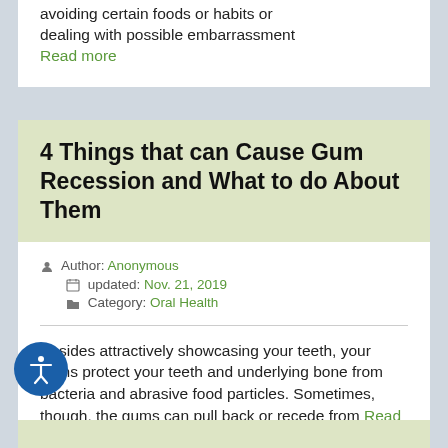avoiding certain foods or habits or dealing with possible embarrassment
Read more
4 Things that can Cause Gum Recession and What to do About Them
Author: Anonymous
updated: Nov. 21, 2019
Category: Oral Health
Besides attractively showcasing your teeth, your gums protect your teeth and underlying bone from bacteria and abrasive food particles. Sometimes, though, the gums can pull back or recede from Read more